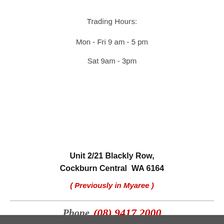Trading Hours:
Mon - Fri 9 am - 5 pm
Sat 9am - 3pm
Unit 2/21 Blackly Row,
Cockburn Central  WA 6164
( Previously in Myaree )
Phone  (08) 9417 2000